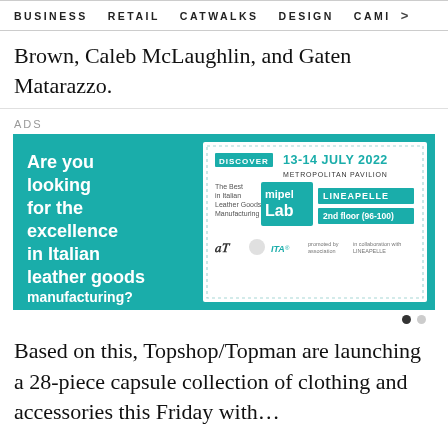BUSINESS   RETAIL   CATWALKS   DESIGN   CAMI  >
Brown, Caleb McLaughlin, and Gaten Matarazzo.
ADS
[Figure (infographic): Advertisement banner for Mipel Lab at Lineapelle. Left side: teal background with bold white text 'Are you looking for the excellence in Italian leather goods manufacturing?'. Right side: white panel with dotted border showing 'DISCOVER', '13-14 JULY 2022', 'METROPOLITAN PAVILION', 'LINEAPELLE', '2nd floor (96-100)', Mipel Lab logo, and partner logos.]
Based on this, Topshop/Topman are launching a 28-piece capsule collection of clothing and accessories this Friday with...